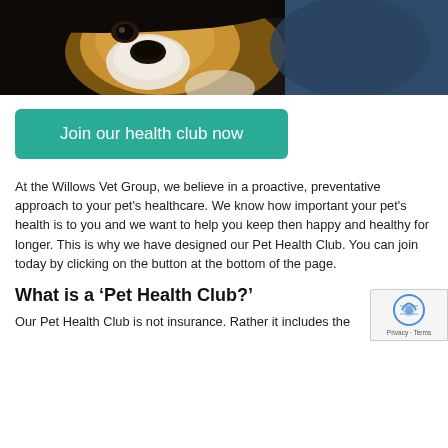[Figure (photo): Close-up photo of a black, brown and white Bernese Mountain Dog or similar breed being examined or held, with a person in a blue jacket visible in the background]
Join our health club now
At the Willows Vet Group, we believe in a proactive, preventative approach to your pet's healthcare. We know how important your pet's health is to you and we want to help you keep then happy and healthy for longer. This is why we have designed our Pet Health Club. You can join today by clicking on the button at the bottom of the page.
What is a ‘Pet Health Club?’
Our Pet Health Club is not insurance. Rather it includes the